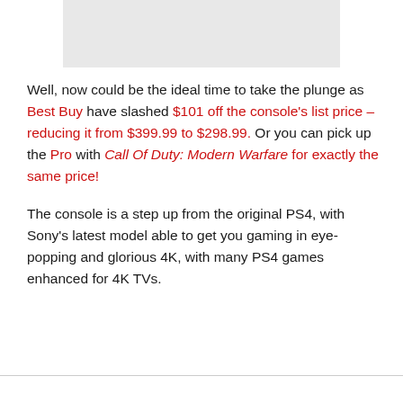[Figure (photo): Image placeholder at top of page]
Well, now could be the ideal time to take the plunge as Best Buy have slashed $101 off the console's list price – reducing it from $399.99 to $298.99. Or you can pick up the Pro with Call Of Duty: Modern Warfare for exactly the same price!
The console is a step up from the original PS4, with Sony's latest model able to get you gaming in eye-popping and glorious 4K, with many PS4 games enhanced for 4K TVs.